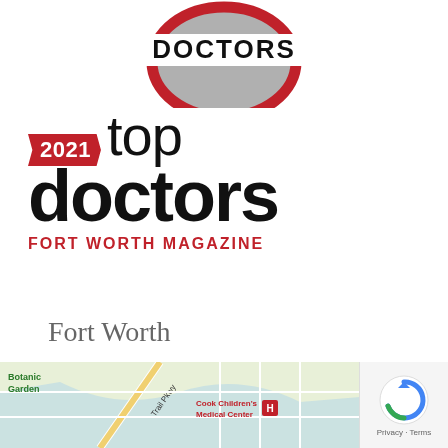[Figure (logo): Top Doctors circular badge with red ring and DOCTORS text banner at top of page]
[Figure (logo): 2021 Top Doctors Fort Worth Magazine award logo with red ribbon year badge, large black 'top doctors' text, and red 'FORT WORTH MAGAZINE' subtitle]
Fort Worth
[Figure (map): Google Maps snippet showing Fort Worth area with Botanic Garden label, Trail Pkwy road, Cook Children's Medical Center marker, street grid]